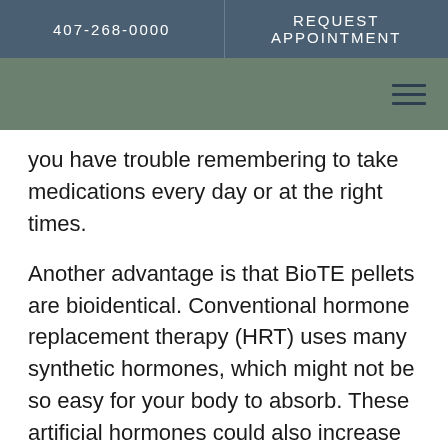407-268-0000   REQUEST APPOINTMENT
you have trouble remembering to take medications every day or at the right times.
Another advantage is that BioTE pellets are bioidentical. Conventional hormone replacement therapy (HRT) uses many synthetic hormones, which might not be so easy for your body to absorb. These artificial hormones could also increase the risk of side effects.
Bioidentical hormones consist of hormones extracted from plants and processed to form pellet